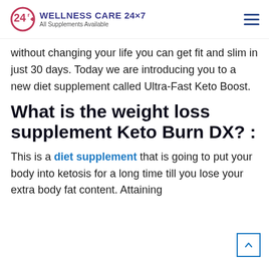WELLNESS CARE 24X7 All Supplements Available
without changing your life you can get fit and slim in just 30 days. Today we are introducing you to a new diet supplement called Ultra-Fast Keto Boost.
What is the weight loss supplement Keto Burn DX? :
This is a diet supplement that is going to put your body into ketosis for a long time till you lose your extra body fat content. Attaining